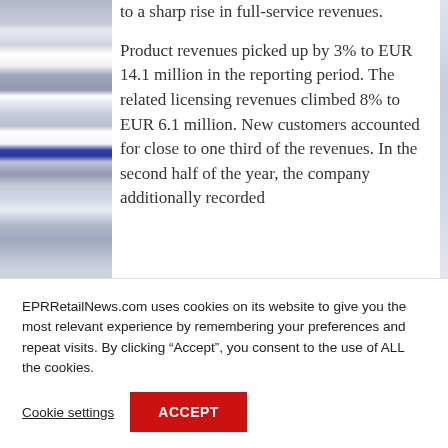[Figure (photo): Partial image strip visible on the left side of the page showing retail/store imagery with colored sections]
to a sharp rise in full-service revenues.

Product revenues picked up by 3% to EUR 14.1 million in the reporting period. The related licensing revenues climbed 8% to EUR 6.1 million. New customers accounted for close to one third of the revenues. In the second half of the year, the company additionally recorded
EPRRetailNews.com uses cookies on its website to give you the most relevant experience by remembering your preferences and repeat visits. By clicking “Accept”, you consent to the use of ALL the cookies.